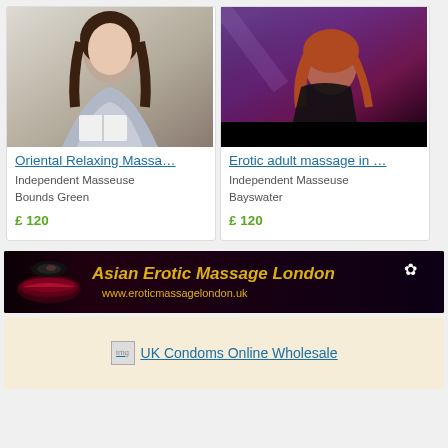[Figure (photo): Young woman with long dark hair sitting in casual light blue clothing, holding an open book, on a white background]
Oriental Relaxing Massa…
Independent Masseuse
Bounds Green
£ 120
[Figure (photo): Woman in dark lingerie posing in dark purple-lit setting with dramatic lighting]
Erotic adult massage in …
Independent Masseuse
Bayswater
£ 120
[Figure (photo): Banner ad for Asian Erotic Massage London showing close-up of woman's lips and text]
Asian Erotic Massage London
www.eroticmassagelondon.uk
[Figure (photo): UK Condoms Online Wholesale advertisement image placeholder with link text]